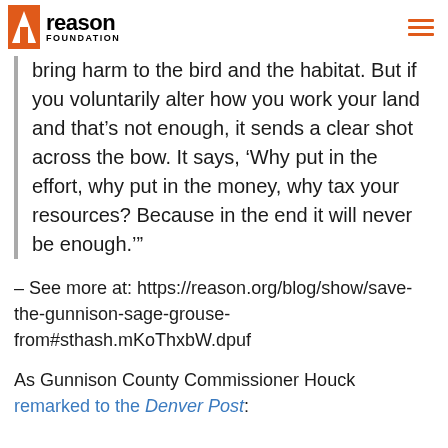Reason Foundation
bring harm to the bird and the habitat. But if you voluntarily alter how you work your land and that's not enough, it sends a clear shot across the bow. It says, 'Why put in the effort, why put in the money, why tax your resources? Because in the end it will never be enough.'"
– See more at: https://reason.org/blog/show/save-the-gunnison-sage-grouse-from#sthash.mKoThxbW.dpuf
As Gunnison County Commissioner Houck remarked to the Denver Post: